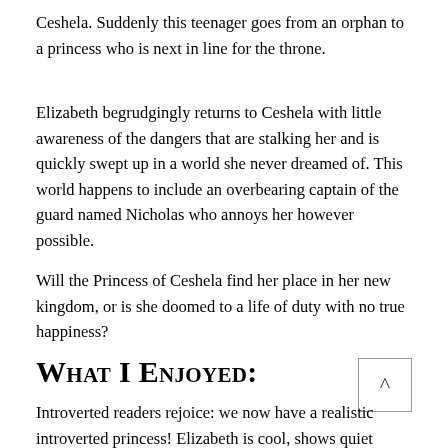Ceshela. Suddenly this teenager goes from an orphan to a princess who is next in line for the throne.
Elizabeth begrudgingly returns to Ceshela with little awareness of the dangers that are stalking her and is quickly swept up in a world she never dreamed of. This world happens to include an overbearing captain of the guard named Nicholas who annoys her however possible.
Will the Princess of Ceshela find her place in her new kingdom, or is she doomed to a life of duty with no true happiness?
What I Enjoyed:
Introverted readers rejoice: we now have a realistic introverted princess! Elizabeth is cool, shows quiet